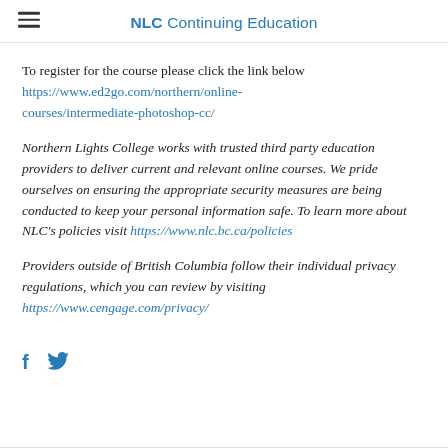NLC Continuing Education
To register for the course please click the link below https://www.ed2go.com/northern/online-courses/intermediate-photoshop-cc/
Northern Lights College works with trusted third party education providers to deliver current and relevant online courses. We pride ourselves on ensuring the appropriate security measures are being conducted to keep your personal information safe. To learn more about NLC's policies visit https://www.nlc.bc.ca/policies
Providers outside of British Columbia follow their individual privacy regulations, which you can review by visiting https://www.cengage.com/privacy/
[Figure (other): Facebook and Twitter social media icons in blue]